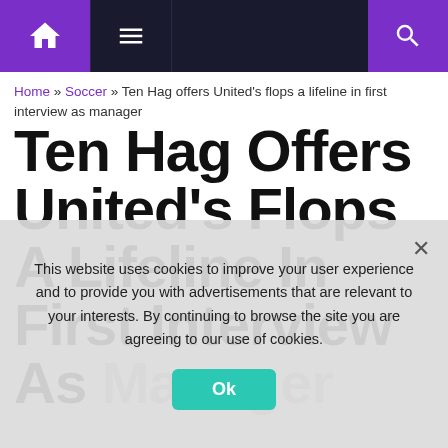Navigation bar with home, menu, and search icons
Home » Soccer » Ten Hag offers United's flops a lifeline in first interview as manager
Ten Hag Offers United's Flops A Lifeline In First Interview As Manager
This website uses cookies to improve your user experience and to provide you with advertisements that are relevant to your interests. By continuing to browse the site you are agreeing to our use of cookies.